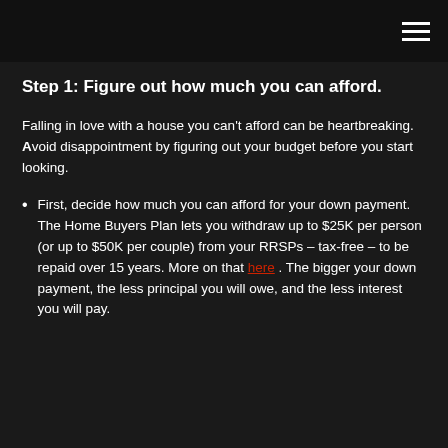Step 1: Figure out how much you can afford.
Falling in love with a house you can't afford can be heartbreaking. Avoid disappointment by figuring out your budget before you start looking.
First, decide how much you can afford for your down payment. The Home Buyers Plan lets you withdraw up to $25K per person (or up to $50K per couple) from your RRSPs – tax-free – to be repaid over 15 years. More on that here. The bigger your down payment, the less principal you will owe, and the less interest you will pay.